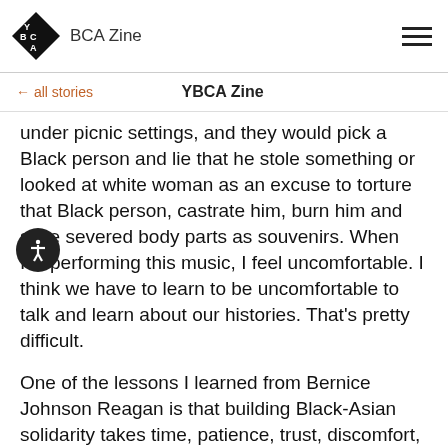YBCA Zine
← all stories   YBCA Zine
under picnic settings, and they would pick a Black person and lie that he stole something or looked at white woman as an excuse to torture that Black person, castrate him, burn him and save severed body parts as souvenirs. When I'm performing this music, I feel uncomfortable. I think we have to learn to be uncomfortable to talk and learn about our histories. That's pretty difficult.
One of the lessons I learned from Bernice Johnson Reagan is that building Black-Asian solidarity takes time, patience, trust, discomfort, and troubled love. It doesn't happen magically like the song that I